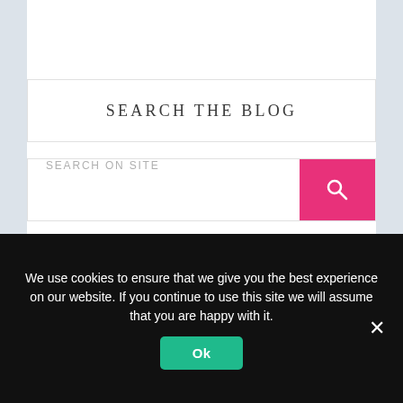SEARCH THE BLOG
SEARCH ON SITE
SUBSCRIBE TO BLOG VIA EMAIL
We use cookies to ensure that we give you the best experience on our website. If you continue to use this site we will assume that you are happy with it.
Ok